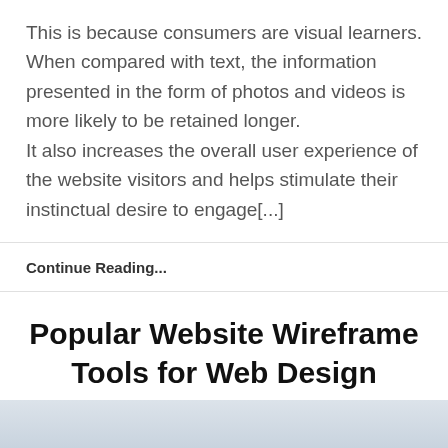This is because consumers are visual learners. When compared with text, the information presented in the form of photos and videos is more likely to be retained longer. It also increases the overall user experience of the website visitors and helps stimulate their instinctual desire to engage[...]
Continue Reading...
Popular Website Wireframe Tools for Web Design
[Figure (illustration): Partial view of a light blue-grey gradient image at the bottom of the page]